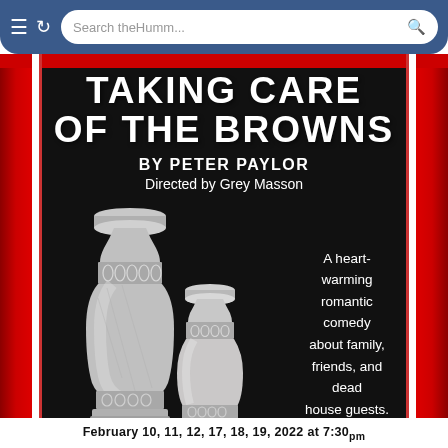[Figure (screenshot): Mobile browser chrome bar with menu icon, refresh icon, and search bar showing 'Search theHumm...']
TAKING CARE OF THE BROWNS
BY PETER PAYLOR
Directed by Grey Masson
[Figure (illustration): Two silver/pewter metallic funeral urns side by side on a black background. The left urn is larger, the right urn is smaller. Both have decorative engraved bands with floral/leaf patterns.]
A heart-warming romantic comedy about family, friends, and dead house guests.
February 10, 11, 12, 17, 18, 19, 2022 at 7:30pm